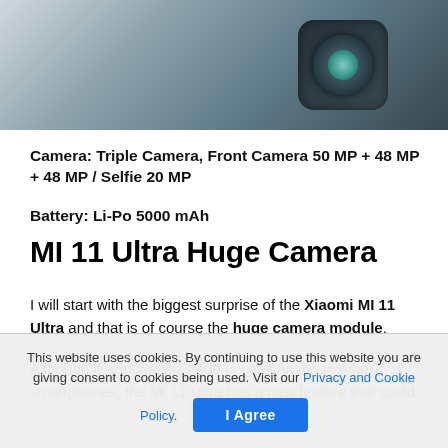[Figure (photo): Close-up photo of smartphone camera module, dark metallic surface with gradient lighting]
Camera: Triple Camera, Front Camera 50 MP + 48 MP + 48 MP / Selfie 20 MP
Battery: Li-Po 5000 mAh
MI 11 Ultra Huge Camera
I will start with the biggest surprise of the Xiaomi MI 11 Ultra and that is of course the huge camera module.
Although it is incredibly large in comparison to other smartphones, the Mi 11 Ultra has a new feature that could
This website uses cookies. By continuing to use this website you are giving consent to cookies being used. Visit our Privacy and Cookie Policy.